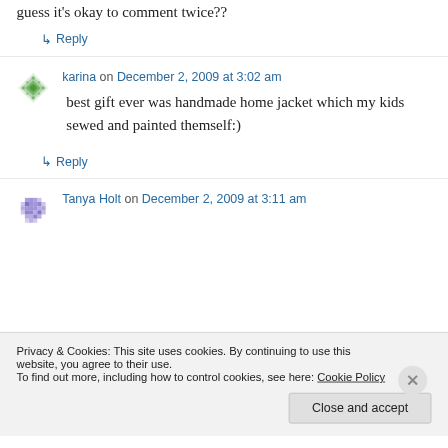guess it's okay to comment twice??
↳ Reply
karina on December 2, 2009 at 3:02 am
best gift ever was handmade home jacket which my kids sewed and painted themself:)
↳ Reply
Tanya Holt on December 2, 2009 at 3:11 am
Privacy & Cookies: This site uses cookies. By continuing to use this website, you agree to their use.
To find out more, including how to control cookies, see here: Cookie Policy
Close and accept